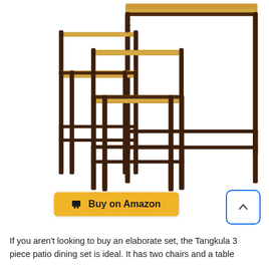[Figure (photo): Product photo of Tangkula 3-piece patio dining set — a tall bar table with two bar stools, wicker/rattan brown frame with acacia wood tops, shown on white background.]
Buy on Amazon
If you aren't looking to buy an elaborate set, the Tangkula 3 piece patio dining set is ideal. It has two chairs and a table